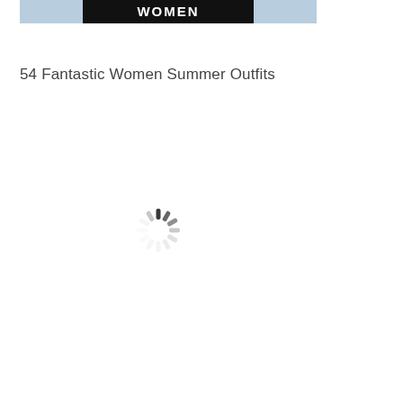[Figure (photo): Banner image showing women in outfits with bold white text 'WOMEN' on a dark background strip, with decorative floral/light background on sides]
54 Fantastic Women Summer Outfits
[Figure (other): Loading spinner icon — circular ring of short dark dashes arranged radially, indicating content is loading]